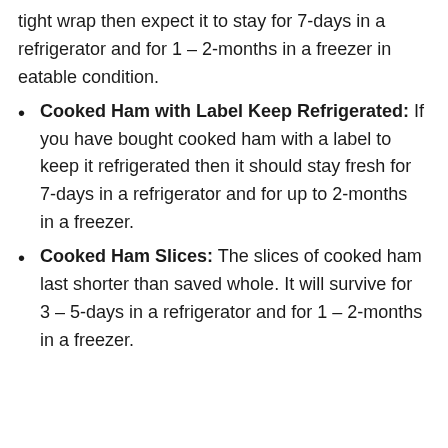tight wrap then expect it to stay for 7-days in a refrigerator and for 1 – 2-months in a freezer in eatable condition.
Cooked Ham with Label Keep Refrigerated: If you have bought cooked ham with a label to keep it refrigerated then it should stay fresh for 7-days in a refrigerator and for up to 2-months in a freezer.
Cooked Ham Slices: The slices of cooked ham last shorter than saved whole. It will survive for 3 – 5-days in a refrigerator and for 1 – 2-months in a freezer.